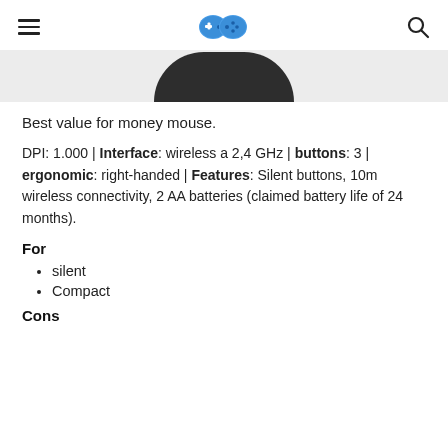Menu | Logo | Search
[Figure (photo): Bottom portion of a dark gray/black computer mouse visible at the top of the content area]
Best value for money mouse.
DPI: 1.000 | Interface: wireless a 2,4 GHz | buttons: 3 | ergonomic: right-handed | Features: Silent buttons, 10m wireless connectivity, 2 AA batteries (claimed battery life of 24 months).
For
silent
Compact
Cons